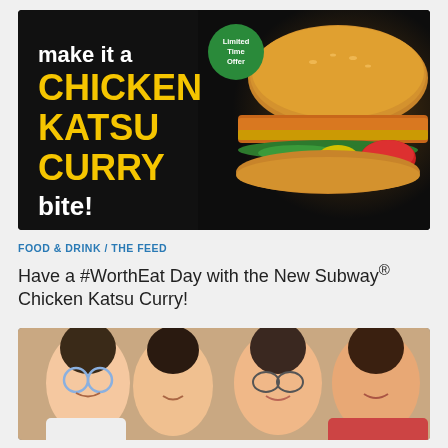[Figure (photo): Subway Chicken Katsu Curry advertisement banner: dark background with large white and yellow text 'make it a CHICKEN KATSU CURRY bite!' and a green badge saying 'Limited Time Offer', with a large photo of a Subway sandwich filled with breaded chicken, lettuce, tomato, and yellow peppers on a sesame roll.]
FOOD & DRINK / THE FEED
Have a #WorthEat Day with the New Subway® Chicken Katsu Curry!
[Figure (photo): Group photo of four young Asian women smiling and posing together, one wearing round blue glasses and making a peace sign, another with round glasses, and two others smiling warmly.]